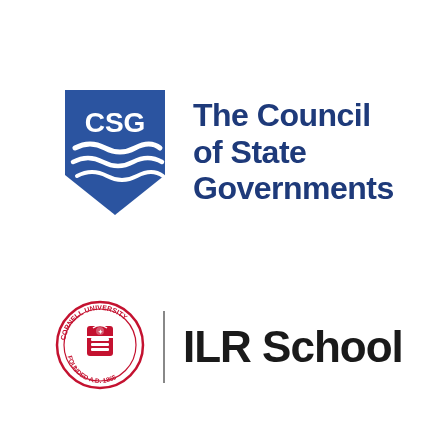[Figure (logo): CSG – The Council of State Governments logo: blue shield with wave lines and 'CSG' text, alongside blue text reading 'The Council of State Governments']
[Figure (logo): Cornell University ILR School logo: Cornell University red circular seal with eagle and shield, a vertical divider line, and bold black text 'ILR School']